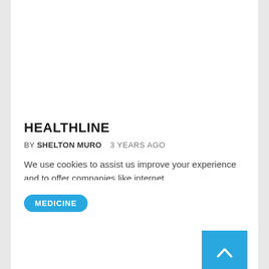HEALTHLINE
BY SHELTON MURO   3 YEARS AGO
We use cookies to assist us improve your experience and to offer companies like internet
MEDICINE